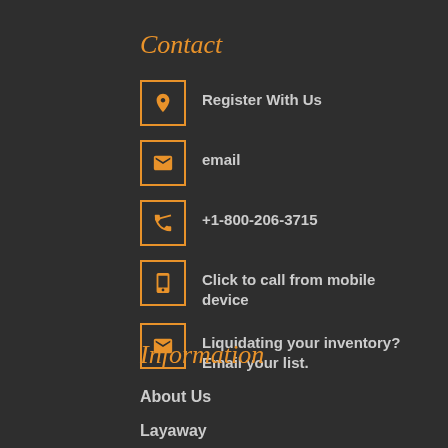Contact
Register With Us
email
+1-800-206-3715
Click to call from mobile device
Liquidating your inventory? Email your list.
Information
About Us
Layaway